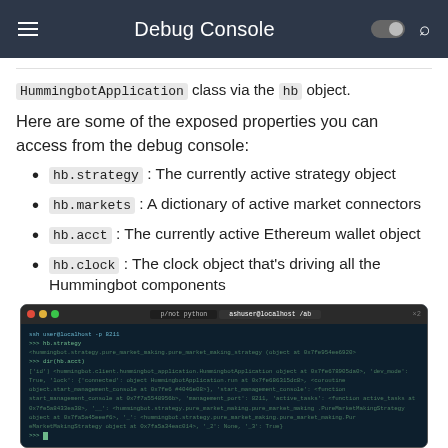Debug Console
HummingbotApplication class via the hb object.
Here are some of the exposed properties you can access from the debug console:
hb.strategy : The currently active strategy object
hb.markets : A dictionary of active market connectors
hb.acct : The currently active Ethereum wallet object
hb.clock : The clock object that's driving all the Hummingbot components
[Figure (screenshot): Terminal screenshot showing Python debug console with hb.strategy output displaying HummingbotApplication object details]